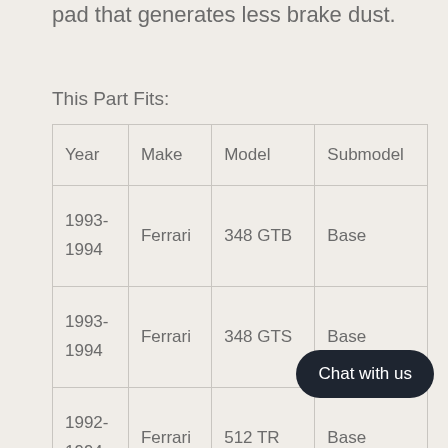pad that generates less brake dust.
This Part Fits:
| Year | Make | Model | Submodel |
| --- | --- | --- | --- |
| 1993-1994 | Ferrari | 348 GTB | Base |
| 1993-1994 | Ferrari | 348 GTS | Base |
| 1992-1994 | Ferrari | 512 TR | Base |